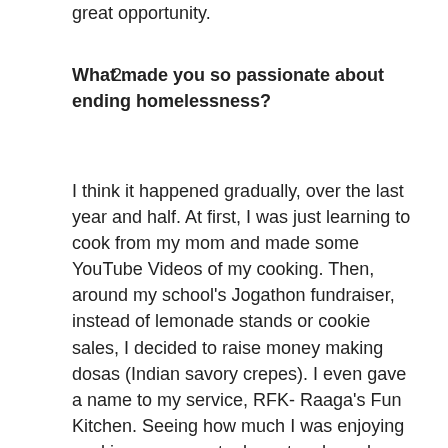great opportunity.
2. What made you so passionate about ending homelessness?
I think it happened gradually, over the last year and half. At first, I was just learning to cook from my mom and made some YouTube Videos of my cooking. Then, around my school's Jogathon fundraiser, instead of lemonade stands or cookie sales, I decided to raise money making dosas (Indian savory crepes). I even gave a name to my service, RFK- Raaga's Fun Kitchen. Seeing how much I was enjoying cooking, my mom took me to a homeless shelter with an institution called Chetana Foundation- they cook and serve food to the homeless every Sunday. Before going there, I used to be really scared of such places. But it made me feel good to see how happy the people at the shelter were with our food. Later, my mom told me about JOIN and how they